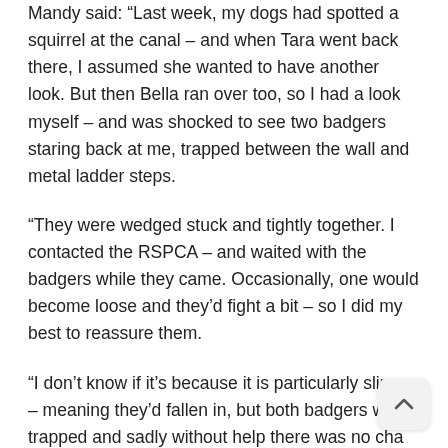Mandy said: “Last week, my dogs had spotted a squirrel at the canal – and when Tara went back there, I assumed she wanted to have another look. But then Bella ran over too, so I had a look myself – and was shocked to see two badgers staring back at me, trapped between the wall and metal ladder steps.
“They were wedged stuck and tightly together. I contacted the RSPCA – and waited with the badgers while they came. Occasionally, one would become loose and they’d fight a bit – so I did my best to reassure them.
“I don’t know if it’s because it is particularly slippy – meaning they’d fallen in, but both badgers were trapped and sadly without help there was no cha of escape from the canal.